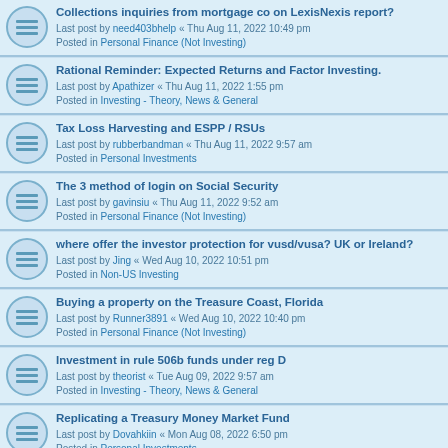Collections inquiries from mortgage co on LexisNexis report?
Last post by need403bhelp « Thu Aug 11, 2022 10:49 pm
Posted in Personal Finance (Not Investing)
Rational Reminder: Expected Returns and Factor Investing.
Last post by Apathizer « Thu Aug 11, 2022 1:55 pm
Posted in Investing - Theory, News & General
Tax Loss Harvesting and ESPP / RSUs
Last post by rubberbandman « Thu Aug 11, 2022 9:57 am
Posted in Personal Investments
The 3 method of login on Social Security
Last post by gavinsiu « Thu Aug 11, 2022 9:52 am
Posted in Personal Finance (Not Investing)
where offer the investor protection for vusd/vusa? UK or Ireland?
Last post by Jing « Wed Aug 10, 2022 10:51 pm
Posted in Non-US Investing
Buying a property on the Treasure Coast, Florida
Last post by Runner3891 « Wed Aug 10, 2022 10:40 pm
Posted in Personal Finance (Not Investing)
Investment in rule 506b funds under reg D
Last post by theorist « Tue Aug 09, 2022 9:57 am
Posted in Investing - Theory, News & General
Replicating a Treasury Money Market Fund
Last post by Dovahkiin « Mon Aug 08, 2022 6:50 pm
Posted in Personal Investments